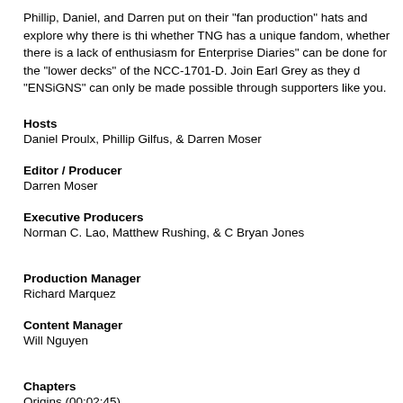Phillip, Daniel, and Darren put on their "fan production" hats and explore why there is this whether TNG has a unique fandom, whether there is a lack of enthusiasm for Enterprise Diaries" can be done for the "lower decks" of the NCC-1701-D. Join Earl Grey as they d "ENSiGNS" can only be made possible through supporters like you.
Hosts
Daniel Proulx, Phillip Gilfus, & Darren Moser
Editor / Producer
Darren Moser
Executive Producers
Norman C. Lao, Matthew Rushing, & C Bryan Jones
Production Manager
Richard Marquez
Content Manager
Will Nguyen
Chapters
Origins (00:02:45)
Why No TNG? (00:05:46)
Production (00:14:10)